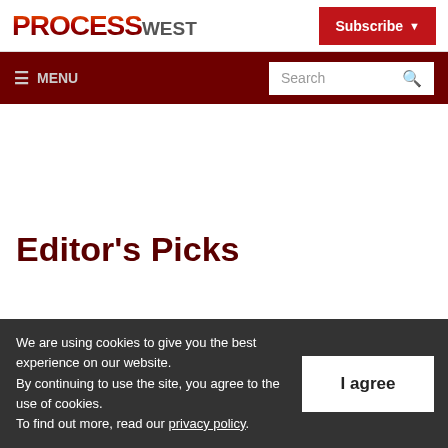[Figure (logo): PROCESS WEST logo with gradient red/orange PROCESS text and grey WEST text]
Subscribe
≡ MENU   Search
Editor's Picks
We are using cookies to give you the best experience on our website. By continuing to use the site, you agree to the use of cookies. To find out more, read our privacy policy.
I agree